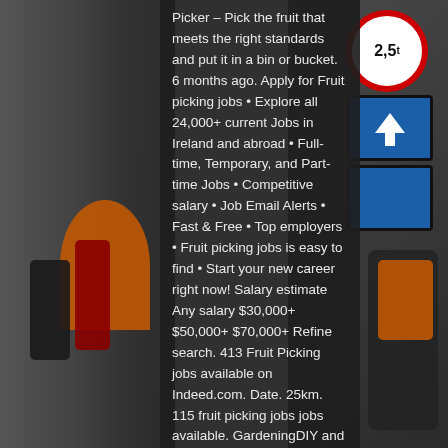[Figure (photo): Left side photo of runners at a race start with an orange arch, dark winter scene]
Picker – Pick the fruit that meets the right standards and put it in a bin or bucket. 6 months ago. Apply for Fruit picking jobs • Explore all 24,000+ current Jobs in Ireland and abroad • Full-time, Temporary, and Part-time Jobs • Competitive salary • Job Email Alerts • Fast & Free • Top employers • Fruit picking jobs is easy to find • Start your new career right now! Salary estimate Any salary $30,000+ $50,000+ $70,000+ Refine search. 413 Fruit Picking jobs available on Indeed.com. Date. 25km. 115 fruit picking jobs jobs available. GardeningDIY and building projectsGeneral Maintenance Help with Eco Projects Hospitality/Tourism. It is planned to start-up sheepfarming activities with the support of the Netherlands association of sheep breeders. With 50,000+ opportunities worldwide there's plenty to provide inspiration, Find new friends to share adventures with via the Workaway travel buddy search, Meet up and
[Figure (photo): Right side photo of road signs (2.5t weight limit, arrow sign, pedestrian sign) and a person in an orange vest at a running event]